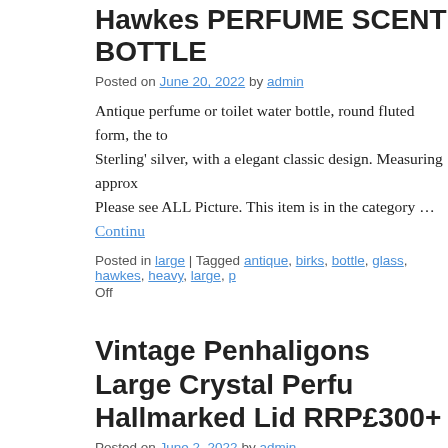Hawkes PERFUME SCENT BOTTLE
Posted on June 20, 2022 by admin
Antique perfume or toilet water bottle, round fluted form, the to Sterling' silver, with a elegant classic design. Measuring approx Please see ALL Picture. This item is in the category … Continue
Posted in large | Tagged antique, birks, bottle, glass, hawkes, heavy, large, p Off
Vintage Penhaligons Large Crystal Perfu Hallmarked Lid RRP£300+
Posted on June 2, 2022 by admin
Never used only been in storage. There may be some minor ma they form part of the description. The silver could do with a po item is in the … Continue reading →
Posted in vintage | Tagged 'penhaligon's, bottle, crystal, hallmarked, large, pe Off